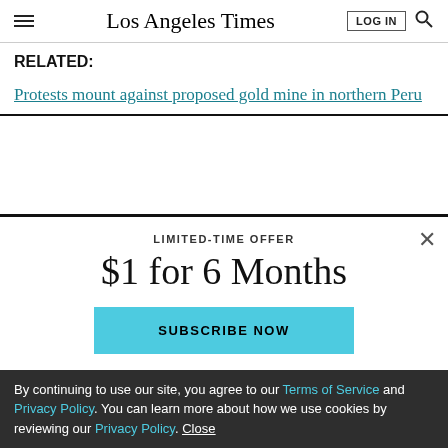Los Angeles Times
RELATED:
Protests mount against proposed gold mine in northern Peru
LIMITED-TIME OFFER
$1 for 6 Months
SUBSCRIBE NOW
By continuing to use our site, you agree to our Terms of Service and Privacy Policy. You can learn more about how we use cookies by reviewing our Privacy Policy. Close